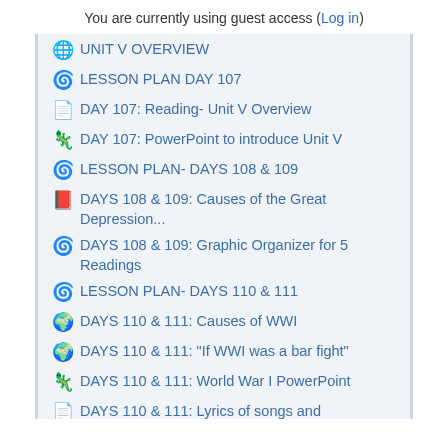You are currently using guest access (Log in)
UNIT V OVERVIEW
LESSON PLAN DAY 107
DAY 107: Reading- Unit V Overview
DAY 107: PowerPoint to introduce Unit V
LESSON PLAN- DAYS 108 & 109
DAYS 108 & 109: Causes of the Great Depression...
DAYS 108 & 109: Graphic Organizer for 5 Readings
LESSON PLAN- DAYS 110 & 111
DAYS 110 & 111: Causes of WWI
DAYS 110 & 111: "If WWI was a bar fight"
DAYS 110 & 111: World War I PowerPoint
DAYS 110 & 111: Lyrics of songs and